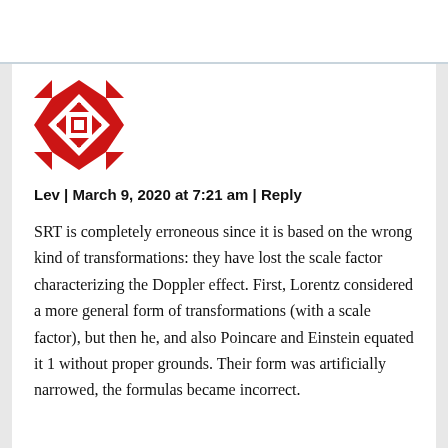[Figure (illustration): Red and white geometric quilt-pattern avatar icon, square shaped]
Lev | March 9, 2020 at 7:21 am | Reply
SRT is completely erroneous since it is based on the wrong kind of transformations: they have lost the scale factor characterizing the Doppler effect. First, Lorentz considered a more general form of transformations (with a scale factor), but then he, and also Poincare and Einstein equated it 1 without proper grounds. Their form was artificially narrowed, the formulas became incorrect.